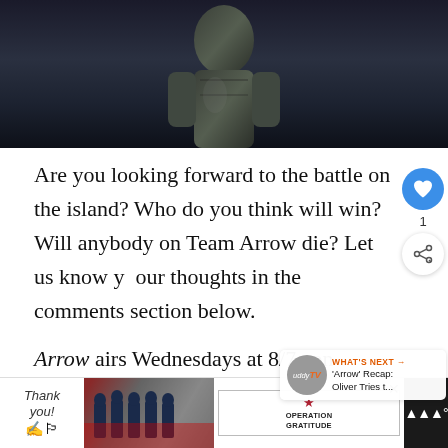[Figure (photo): Dark dramatic photo showing a figure in dark armor/costume, likely from the TV show Arrow]
Are you looking forward to the battle on the island? Who do you think will win? Will anybody on Team Arrow die? Let us know your thoughts in the comments section below.
Arrow airs Wednesdays at 8/7c on [network]. Want more news? Like our Arrow Facebook pa[ge]